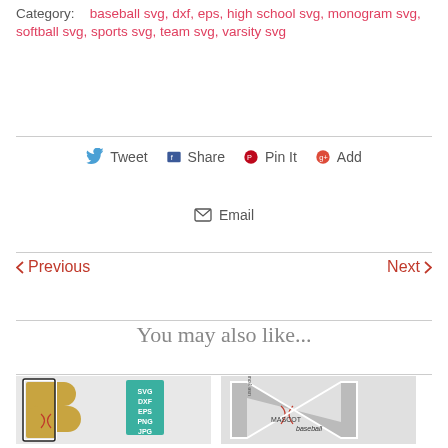Category: baseball svg, dxf, eps, high school svg, monogram svg, softball svg, sports svg, team svg, varsity svg
Tweet
Share
Pin It
Add
Email
Previous
Next
You may also like...
[Figure (illustration): Baseball letter B SVG product with SVG DXF EPS PNG JPG badge]
[Figure (illustration): Baseball letter N SVG product with 'use your own mascot baseball' text overlay]